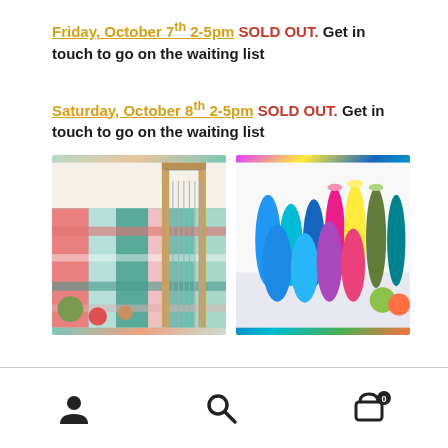Friday, October 7th 2-5pm SOLD OUT. Get in touch to go on the waiting list
Saturday, October 8th 2-5pm SOLD OUT. Get in touch to go on the waiting list
[Figure (photo): A weaving loom with colorful woven fabric in teal, pink, and green plaid pattern, with yarn balls nearby]
[Figure (photo): Multiple colorful yarn cones and spools arranged on a white surface, in colors including blue, teal, pink, yellow, navy, and olive]
Navigation icons: user account, search, and shopping cart with 0 items